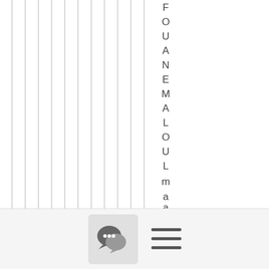[Figure (illustration): Multiple vertical gray lines arranged side by side forming a striped pattern on the left portion of the page, with vertical rotated text spelling 'FOUNEMALOULmalout' reading top to bottom on the right side]
[Figure (illustration): Bottom navigation bar with a speech bubble icon button and a hamburger menu icon]